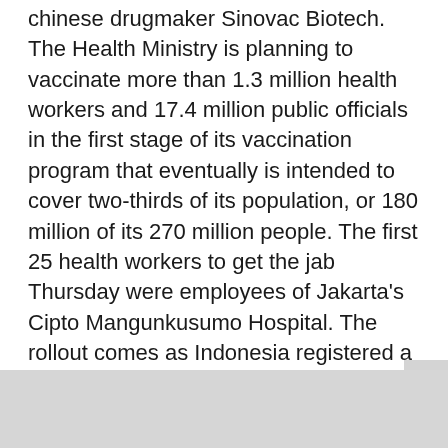chinese drugmaker Sinovac Biotech. The Health Ministry is planning to vaccinate more than 1.3 million health workers and 17.4 million public officials in the first stage of its vaccination program that eventually is intended to cover two-thirds of its population, or 180 million of its 270 million people. The first 25 health workers to get the jab Thursday were employees of Jakarta's Cipto Mangunkusumo Hospital. The rollout comes as Indonesia registered a daily high in COVID-19 infections and fatalities on Wednesday, with 11,278 cases and 306 deaths in the last 24 hours. The country has confirmed 858,000 infections and 24,900 deaths since the pandemic began.